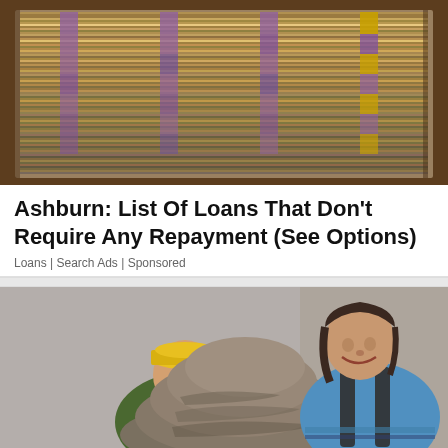[Figure (photo): Large stacks of bundled US dollar bills piled high on a table, photographed from above at an angle]
Ashburn: List Of Loans That Don't Require Any Repayment (See Options)
Loans | Search Ads | Sponsored
[Figure (photo): Two people (a man in a green jacket and yellow cap, and a woman in a blue sweater) posing with a large pile of mixed paper currency/cash on a table]